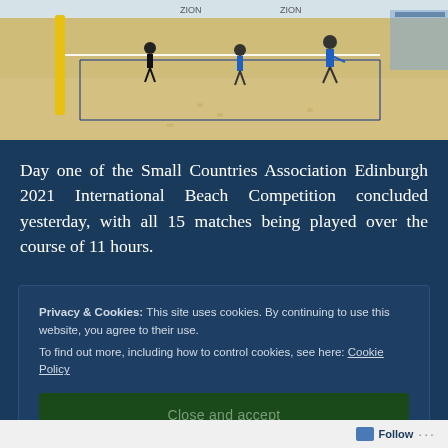[Figure (photo): Beach volleyball court scene with players on sand, yellow net post visible on left, players in blue and black uniforms, blue sky and sponsor banners in background]
Day one of the Small Countries Association Edinburgh 2021 International Beach Competition concluded yesterday, with all 15 matches being played over the course of 11 hours.
Privacy & Cookies: This site uses cookies. By continuing to use this website, you agree to their use.
To find out more, including how to control cookies, see here: Cookie Policy
Close and accept